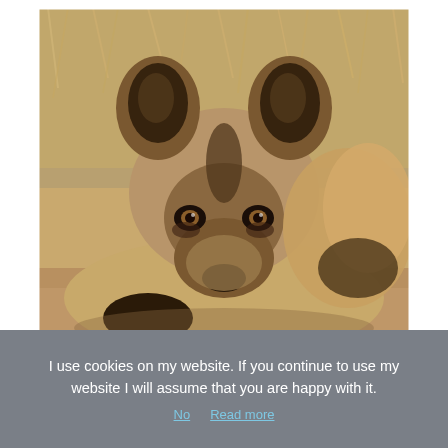[Figure (photo): Close-up photograph of an African wild dog (painted dog) lying down and looking directly at the camera. The animal has large rounded ears with dark markings, a mottled tan and dark coat, and amber eyes. The background shows dry grass and savanna terrain.]
I use cookies on my website. If you continue to use my website I will assume that you are happy with it.
No  Read more